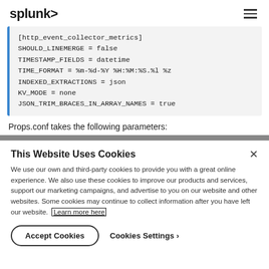splunk>
[Figure (screenshot): Code block showing props.conf configuration for [http_event_collector_metrics] with settings: SHOULD_LINEMERGE = false, TIMESTAMP_FIELDS = datetime, TIME_FORMAT = %m-%d-%Y %H:%M:%S.%l %z, INDEXED_EXTRACTIONS = json, KV_MODE = none, JSON_TRIM_BRACES_IN_ARRAY_NAMES = true]
Props.conf takes the following parameters:
This Website Uses Cookies
We use our own and third-party cookies to provide you with a great online experience. We also use these cookies to improve our products and services, support our marketing campaigns, and advertise to you on our website and other websites. Some cookies may continue to collect information after you have left our website. Learn more here
Accept Cookies  Cookies Settings ›